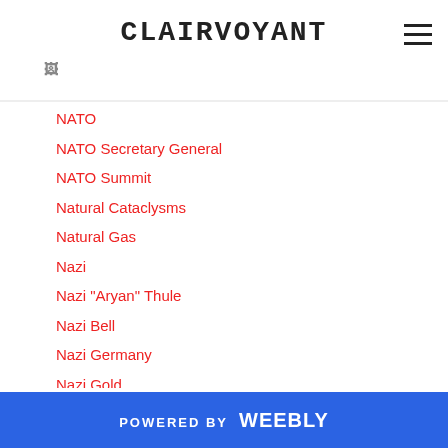CLAIRVOYANT
NATO
NATO Secretary General
NATO Summit
Natural Cataclysms
Natural Gas
Nazi
Nazi "Aryan" Thule
Nazi Bell
Nazi Germany
Nazi Gold
Nazi Treasures
Netflix
New Moon Discovered
New York Governor
New York Stock Exchange
POWERED BY weebly